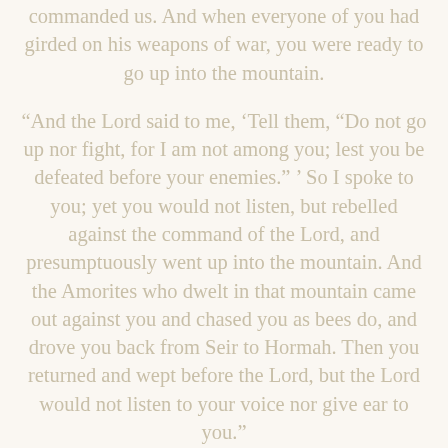commanded us. And when everyone of you had girded on his weapons of war, you were ready to go up into the mountain.
“And the Lord said to me, ‘Tell them, “Do not go up nor fight, for I am not among you; lest you be defeated before your enemies.” ’ So I spoke to you; yet you would not listen, but rebelled against the command of the Lord, and presumptuously went up into the mountain. And the Amorites who dwelt in that mountain came out against you and chased you as bees do, and drove you back from Seir to Hormah. Then you returned and wept before the Lord, but the Lord would not listen to your voice nor give ear to you.”
Deuteronomy 1:41-45